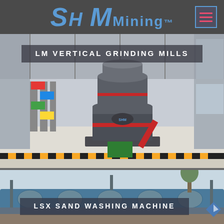SH MMining
[Figure (photo): Large industrial LM Vertical Grinding Mill machine in a factory setting with colorful flags and yellow-black warning stripes on the floor]
LM VERTICAL GRINDING MILLS
[Figure (photo): LSX Sand Washing Machine industrial equipment with spiral/screw conveyor components visible outdoors]
LSX SAND WASHING MACHINE